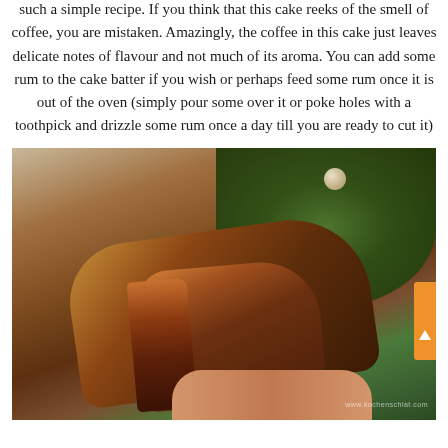such a simple recipe. If you think that this cake reeks of the smell of coffee, you are mistaken. Amazingly, the coffee in this cake just leaves delicate notes of flavour and not much of its aroma. You can add some rum to the cake batter if you wish or perhaps feed some rum once it is out of the oven (simply pour some over it or poke holes with a toothpick and drizzle some rum once a day till you are ready to cut it)
[Figure (photo): A sliced loaf cake (fruit/Christmas cake) being held by hands, with Christmas greenery and a decorative ornament in the background. A watermark from a recipe website is visible in the lower right.]